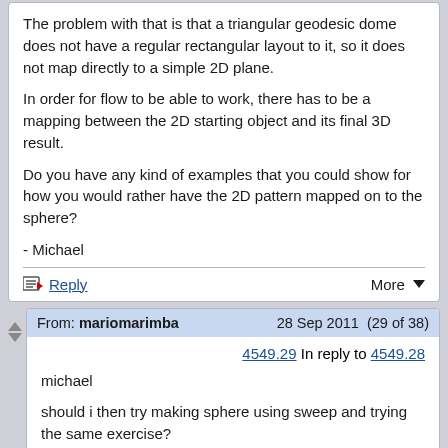The problem with that is that a triangular geodesic dome does not have a regular rectangular layout to it, so it does not map directly to a simple 2D plane.
In order for flow to be able to work, there has to be a mapping between the 2D starting object and its final 3D result.
Do you have any kind of examples that you could show for how you would rather have the 2D pattern mapped on to the sphere?
- Michael
Reply | More
From: mariomarimba   28 Sep 2011  (29 of 38)
4549.29 In reply to 4549.28
michael
should i then try making sphere using sweep and trying the same exercise?
thanks